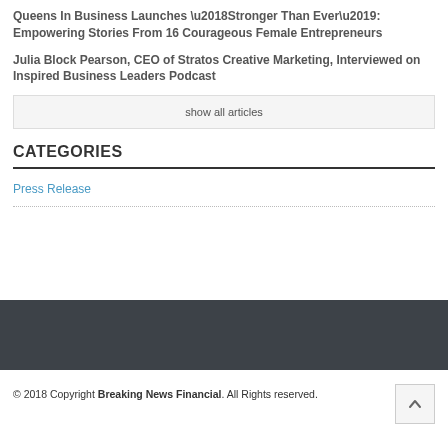Queens In Business Launches ‘Stronger Than Ever’: Empowering Stories From 16 Courageous Female Entrepreneurs
Julia Block Pearson, CEO of Stratos Creative Marketing, Interviewed on Inspired Business Leaders Podcast
show all articles
CATEGORIES
Press Release
© 2018 Copyright Breaking News Financial. All Rights reserved.